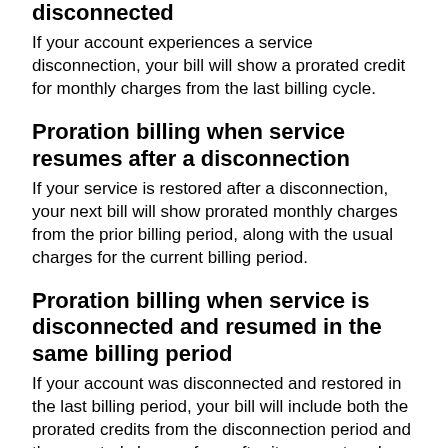disconnected
If your account experiences a service disconnection, your bill will show a prorated credit for monthly charges from the last billing cycle.
Proration billing when service resumes after a disconnection
If your service is restored after a disconnection, your next bill will show prorated monthly charges from the prior billing period, along with the usual charges for the current billing period.
Proration billing when service is disconnected and resumed in the same billing period
If your account was disconnected and restored in the last billing period, your bill will include both the prorated credits from the disconnection period and the prorated charges from after it was restored. Your bill will also include your standard full monthly